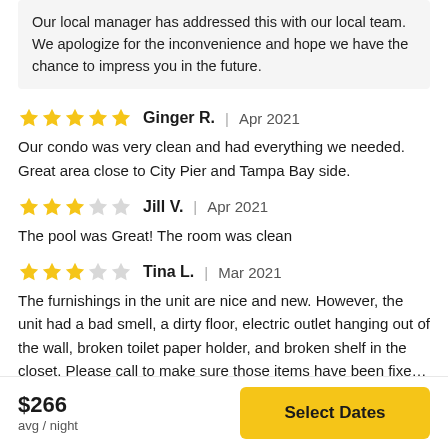Our local manager has addressed this with our local team. We apologize for the inconvenience and hope we have the chance to impress you in the future.
★★★★★ Ginger R. | Apr 2021
Our condo was very clean and had everything we needed. Great area close to City Pier and Tampa Bay side.
★★★☆☆ Jill V. | Apr 2021
The pool was Great! The room was clean
★★★☆☆ Tina L. | Mar 2021
The furnishings in the unit are nice and new. However, the unit had a bad smell, a dirty floor, electric outlet hanging out of the wall, broken toilet paper holder, and broken shelf in the closet. Please call to make sure those items have been fixed before you...
$266
avg / night
Select Dates